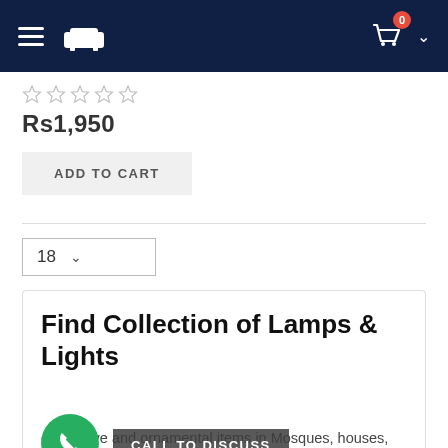[Figure (screenshot): Navigation bar with hamburger menu, sofa/furniture logo icon, shopping cart with badge showing 0, and chevron]
Rs1,950
ADD TO CART
18
Find Collection of Lamps & Lights
CALL TO DISCUSS
decorative and ornamental items in Mosques, houses, offices, restaurants, hotels and